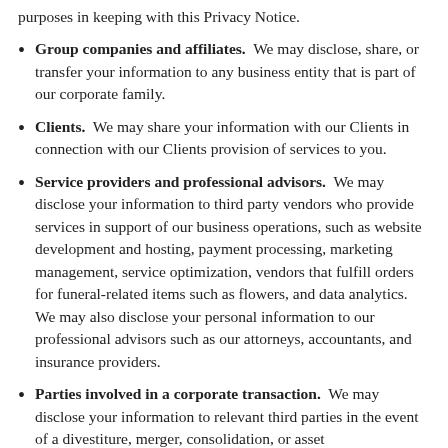purposes in keeping with this Privacy Notice.
Group companies and affiliates. We may disclose, share, or transfer your information to any business entity that is part of our corporate family.
Clients. We may share your information with our Clients in connection with our Clients provision of services to you.
Service providers and professional advisors. We may disclose your information to third party vendors who provide services in support of our business operations, such as website development and hosting, payment processing, marketing management, service optimization, vendors that fulfill orders for funeral-related items such as flowers, and data analytics. We may also disclose your personal information to our professional advisors such as our attorneys, accountants, and insurance providers.
Parties involved in a corporate transaction. We may disclose your information to relevant third parties in the event of a divestiture, merger, consolidation, or asset...